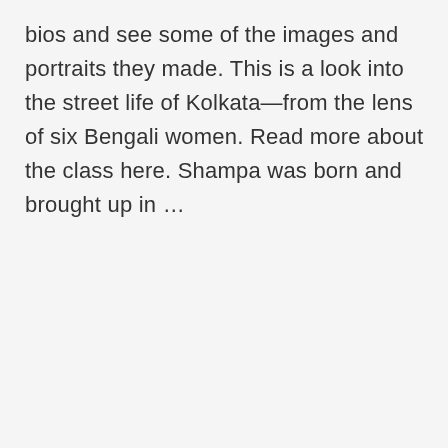bios and see some of the images and portraits they made. This is a look into the street life of Kolkata—from the lens of six Bengali women. Read more about the class here. Shampa was born and brought up in …
CONTINUE READING